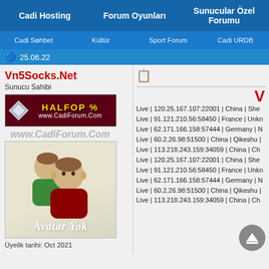Cadi Hosting | Forum Oyunları | Sunucular Özel Forumu
Cadi Sohbet | Kültür | Sport Forum | CadiURDB
25.06.22
Vn5Socks.Net
Sunucu Sahibi
[Figure (illustration): Banner with HALFOP % text and www.CadiForum.Com]
[Figure (illustration): www.CadiForum.Com watermark text]
[Figure (illustration): Avatar showing two cartoon figures, text: Avatar Yok]
Üyelik tarihi: Oct 2021
Live | 120.25.167.107:22001 | China | She
Live | 91.121.210.56:58450 | France | Unkn
Live | 62.171.166.158:57444 | Germany | N
Live | 60.2.26.98:51500 | China | Qikeshu |
Live | 113.218.243.159:34059 | China | Ch
Live | 120.25.167.107:22001 | China | She
Live | 91.121.210.56:58450 | France | Unkn
Live | 62.171.166.158:57444 | Germany | N
Live | 60.2.26.98:51500 | China | Qikeshu |
Live | 113.218.243.159:34059 | China | Ch